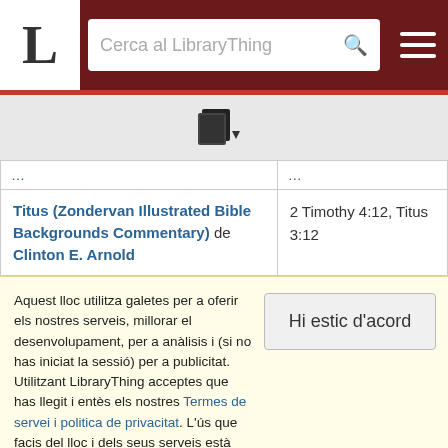LibraryThing header with logo L, search bar 'Cerca al LibraryThing', and hamburger menu
[Figure (other): Book/copy icon with dropdown arrow on gray background]
| Book title | References |
| --- | --- |
| Titus (Zondervan Illustrated Bible Backgrounds Commentary) de Clinton E. Arnold | 2 Timothy 4:12, Titus 3:12 |
| 1 and 2 Timothy, Titus (Hippo / Africa Bible Commentary Series) de Samuel Ngewa | 2 Timothy 4:12, Titus 3:12 |
| 1 and 2 Timothy, Titus (New International Biblical Commentary, Volume #13) de | 2 Timothy 4:12, |
Aquest lloc utilitza galetes per a oferir els nostres serveis, millorar el desenvolupament, per a anàlisis i (si no has iniciat la sessió) per a publicitat. Utilitzant LibraryThing acceptes que has llegit i entès els nostres Termes de servei i politica de privacitat. L'ús que facis del lloc i dels seus serveis està subjecte a aquestes politiques i termes.
Hi estic d'acord